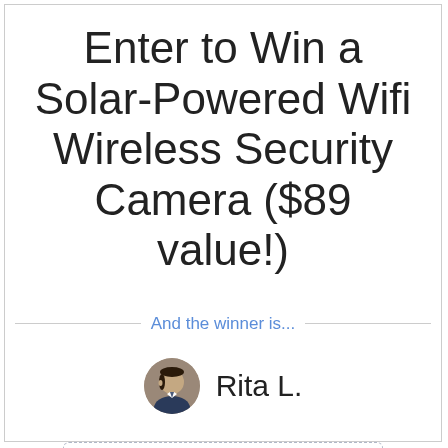Enter to Win a Solar-Powered Wifi Wireless Security Camera ($89 value!)
And the winner is...
Rita L.
Do you run giveaways, too? Try Rafflecopter! It's free.